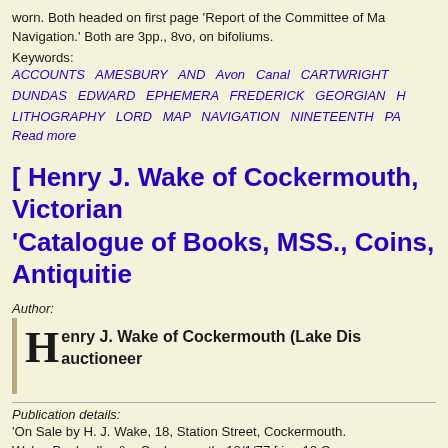worn. Both headed on first page 'Report of the Committee of Ma Navigation.' Both are 3pp., 8vo, on bifoliums.
Keywords:
ACCOUNTS AMESBURY AND Avon Canal CARTWRIGHT DUNDAS EDWARD EPHEMERA FREDERICK GEORGIAN H LITHOGRAPHY LORD MAP NAVIGATION NINETEENTH PA
Read more
[ Henry J. Wake of Cockermouth, Victorian 'Catalogue of Books, MSS., Coins, Antiquitie
Author:
Henry J. Wake of Cockermouth (Lake Dis auctioneer
Publication details:
'On Sale by H. J. Wake, 18, Station Street, Cockermouth. Wake, Bookseller &c. Cockermouth. 10/1/77 [ i.e. 10 C